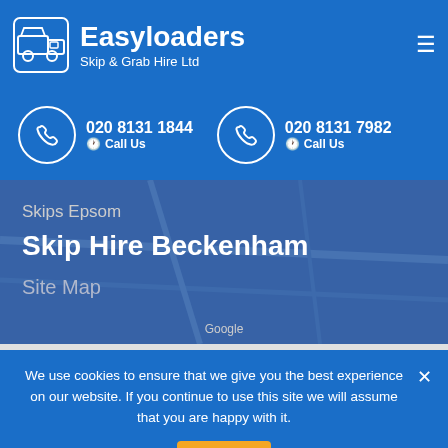[Figure (logo): Easyloaders Skip & Grab Hire Ltd logo with truck icon on blue background]
020 8131 1844
Call Us
020 8131 7982
Call Us
Skips Epsom
Skip Hire Beckenham
Site Map
Google
We use cookies to ensure that we give you the best experience on our website. If you continue to use this site we will assume that you are happy with it.
Ok